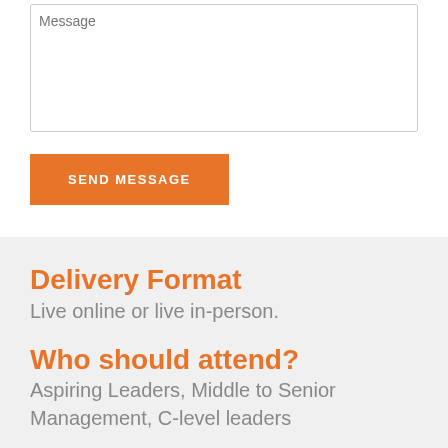Message
SEND MESSAGE
Delivery Format
Live online or live in-person.
Who should attend?
Aspiring Leaders, Middle to Senior Management, C-level leaders